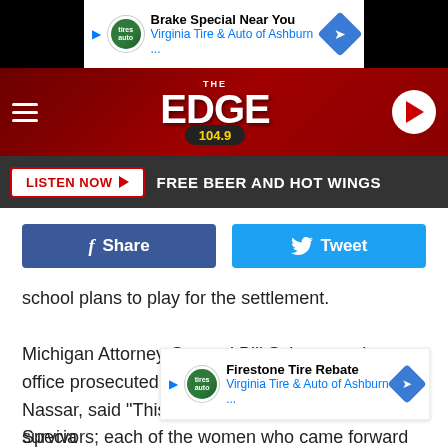[Figure (screenshot): Advertisement banner: Brake Special Near You - Virginia Tire & Auto of Ashburn ...]
[Figure (logo): The Edge 104.9 FM radio station logo on dark red header with hamburger menu and play button]
[Figure (infographic): Listen Now bar with FREE BEER AND HOT WINGS text]
[Figure (infographic): Facebook Share and Twitter Tweet social sharing buttons]
school plans to play for the settlement.
Michigan Attorney General Bill Schuette, whose office prosecuted the criminal case against Nassar, said "This is about justice for the survivors; each of the women who came forward deserve justice. Those who spoke at the many days of sentencing remain in my thoughts every day, and their streng
[Figure (screenshot): Advertisement: Firestone Tire Rebate - Virginia Tire & Auto of Ashburn ...]
Specia